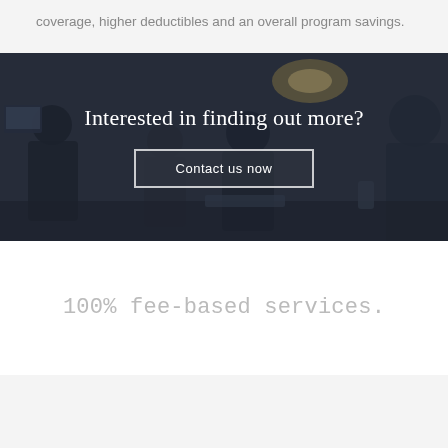coverage, higher deductibles and an overall program savings.
[Figure (photo): Blurred dark background photo of people in a meeting/office setting, used as banner background]
Interested in finding out more?
Contact us now
100% fee-based services.